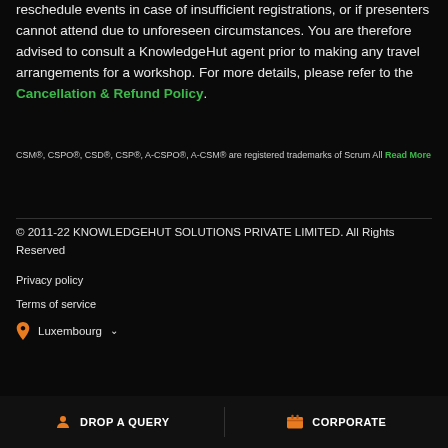reschedule events in case of insufficient registrations, or if presenters cannot attend due to unforeseen circumstances. You are therefore advised to consult a KnowledgeHut agent prior to making any travel arrangements for a workshop. For more details, please refer to the Cancellation & Refund Policy.
CSM®, CSPO®, CSD®, CSP®, A-CSPO®, A-CSM® are registered trademarks of Scrum All Read More
© 2011-22 KNOWLEDGEHUT SOLUTIONS PRIVATE LIMITED. All Rights Reserved
Privacy policy
Terms of service
Luxembourg
DROP A QUERY   CORPORATE